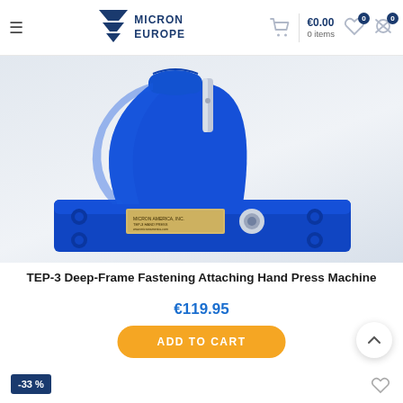Micron Europe — €0.00 0 items
[Figure (photo): Blue TEP-3 Deep-Frame Fastening Attaching Hand Press Machine on a light grey background, showing the clamp arm, base plate, and die set]
TEP-3 Deep-Frame Fastening Attaching Hand Press Machine
€119.95
ADD TO CART
-33 %